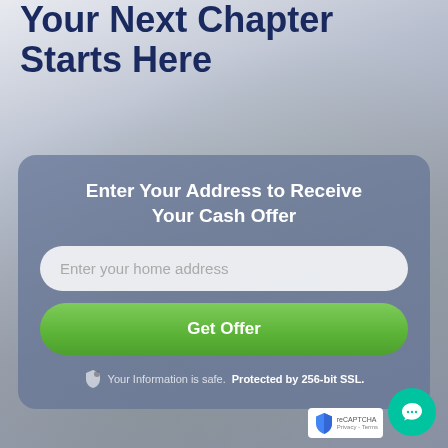Your Next Chapter Starts Here
Enter Your Address to Receive Your Cash Offer
Enter your home address
Get Offer
Your Information is safe. Protected by 256-bit SSL.